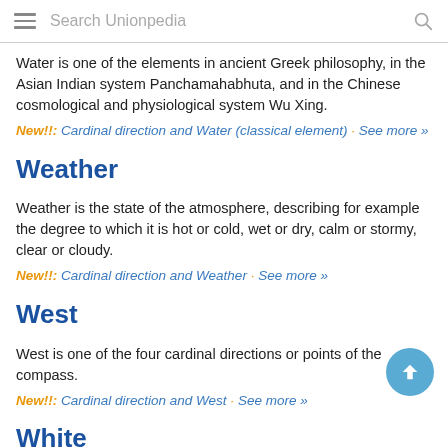Search Unionpedia
Water is one of the elements in ancient Greek philosophy, in the Asian Indian system Panchamahabhuta, and in the Chinese cosmological and physiological system Wu Xing.
New!!: Cardinal direction and Water (classical element) · See more »
Weather
Weather is the state of the atmosphere, describing for example the degree to which it is hot or cold, wet or dry, calm or stormy, clear or cloudy.
New!!: Cardinal direction and Weather · See more »
West
West is one of the four cardinal directions or points of the compass.
New!!: Cardinal direction and West · See more »
White